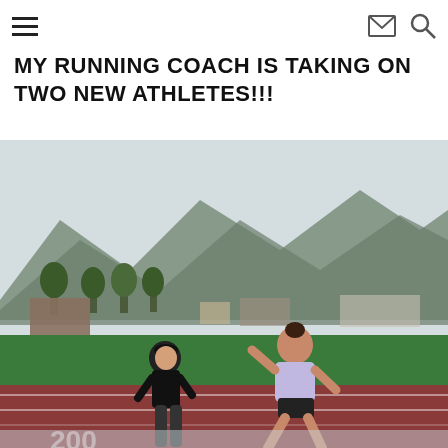Navigation header with hamburger menu, mail icon, and search icon
MY RUNNING COACH IS TAKING ON TWO NEW ATHLETES!!!
[Figure (photo): A female athlete running on a red track with a coach jogging behind her. Mountains and green trees visible in the background. The track has green infield grass. The photo is slightly cut off at the bottom.]